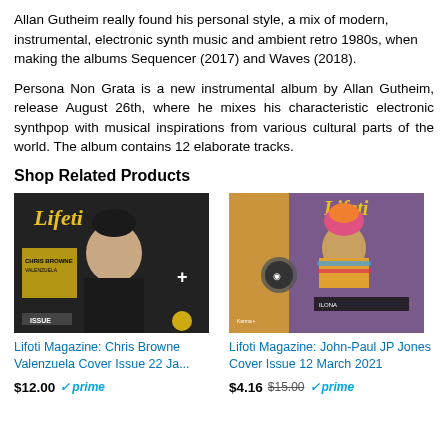Allan Gutheim really found his personal style, a mix of modern, instrumental, electronic synth music and ambient retro 1980s, when making the albums Sequencer (2017) and Waves (2018).
Persona Non Grata is a new instrumental album by Allan Gutheim, release August 26th, where he mixes his characteristic electronic synthpop with musical inspirations from various cultural parts of the world. The album contains 12 elaborate tracks.
Shop Related Products
[Figure (photo): Magazine cover of Lifoti featuring Chris Browne Valenzuela, dark background with yellow Lifoti logo]
[Figure (photo): Magazine cover of Lifoti featuring John-Paul JP Jones, colorful background with Lifoti logo]
Lifoti Magazine: Chris Browne Valenzuela Cover Issue 22 Ja...
Lifoti Magazine: John-Paul JP Jones Cover Issue 12 March 2021
$12.00 prime
$4.16 $15.00 prime